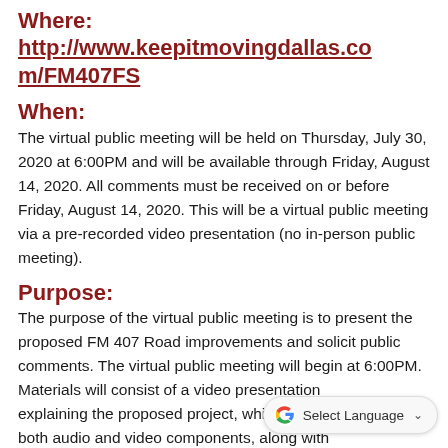Where:
http://www.keepitmovingdallas.com/FM407FS
When:
The virtual public meeting will be held on Thursday, July 30, 2020 at 6:00PM and will be available through Friday, August 14, 2020. All comments must be received on or before Friday, August 14, 2020. This will be a virtual public meeting via a pre-recorded video presentation (no in-person public meeting).
Purpose:
The purpose of the virtual public meeting is to present the proposed FM 407 Road improvements and solicit public comments. The virtual public meeting will begin at 6:00PM. Materials will consist of a video p... explaining the proposed project, which includes both audio and video components, along with